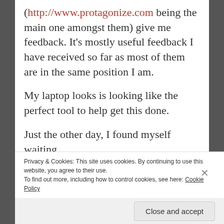(http://www.protagonize.com being the main one amongst them) give me feedback. It's mostly useful feedback I have received so far as most of them are in the same position I am.
My laptop looks is looking like the perfect tool to help get this done.
Just the other day, I found myself waiting
Privacy & Cookies: This site uses cookies. By continuing to use this website, you agree to their use.
To find out more, including how to control cookies, see here: Cookie Policy